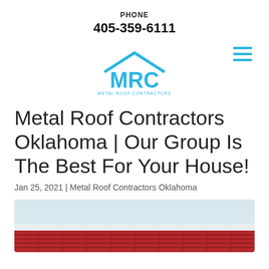PHONE
405-359-6111
[Figure (logo): MRC Metal Roof Contractors logo with house roof outline above letters MRC and text METAL ROOF CONTRACTORS below in blue]
Metal Roof Contractors Oklahoma | Our Group Is The Best For Your House!
Jan 25, 2021 | Metal Roof Contractors Oklahoma
[Figure (photo): Partial photo of a commercial metal roof building with red/rust colored metal roof panels and light blue sky background]